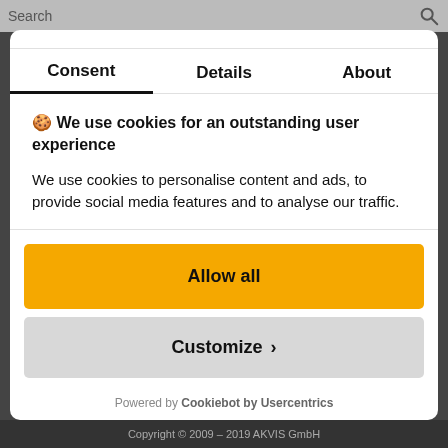Search
Consent | Details | About
🍪 We use cookies for an outstanding user experience
We use cookies to personalise content and ads, to provide social media features and to analyse our traffic.
Allow all
Customize >
Powered by Cookiebot by Usercentrics
Copyright © 2009 – 2019 AKVIS GmbH